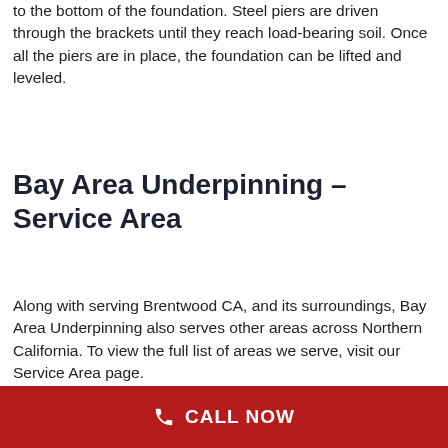to the bottom of the foundation. Steel piers are driven through the brackets until they reach load-bearing soil. Once all the piers are in place, the foundation can be lifted and leveled.
Bay Area Underpinning – Service Area
Along with serving Brentwood CA, and its surroundings, Bay Area Underpinning also serves other areas across Northern California. To view the full list of areas we serve, visit our Service Area page.
Why Choose Bay Area
CALL NOW